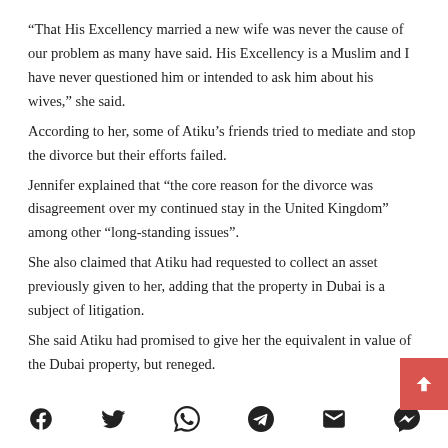“That His Excellency married a new wife was never the cause of our problem as many have said. His Excellency is a Muslim and I have never questioned him or intended to ask him about his wives,” she said.
According to her, some of Atiku’s friends tried to mediate and stop the divorce but their efforts failed.
Jennifer explained that “the core reason for the divorce was disagreement over my continued stay in the United Kingdom” among other “long-standing issues”.
She also claimed that Atiku had requested to collect an asset previously given to her, adding that the property in Dubai is a subject of litigation.
She said Atiku had promised to give her the equivalent in value of the Dubai property, but reneged.
[Figure (other): Social media share icons: Facebook, Twitter, WhatsApp, Telegram, Email, Messenger]